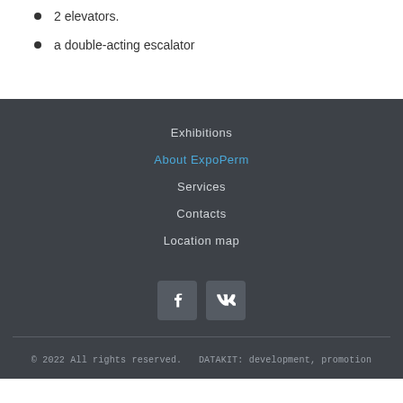2 elevators.
a double-acting escalator
Exhibitions
About ExpoPerm
Services
Contacts
Location map
[Figure (other): Social media icons: Facebook (f) and VK buttons]
© 2022 All rights reserved.   DATAKIT: development, promotion